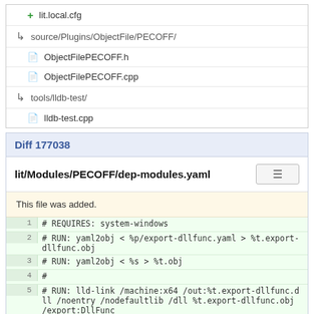+ lit.local.cfg
source/Plugins/ObjectFile/PECOFF/
ObjectFilePECOFF.h
ObjectFilePECOFF.cpp
tools/lldb-test/
lldb-test.cpp
Diff 177038
lit/Modules/PECOFF/dep-modules.yaml
This file was added.
1  # REQUIRES: system-windows
2  # RUN: yaml2obj < %p/export-dllfunc.yaml > %t.export-dllfunc.obj
3  # RUN: yaml2obj < %s > %t.obj
4  #
5  # RUN: lld-link /machine:x64 /out:%t.export-dllfunc.dll /noentry /nodefaultlib /dll %t.export-dllfunc.obj /export:DllFunc